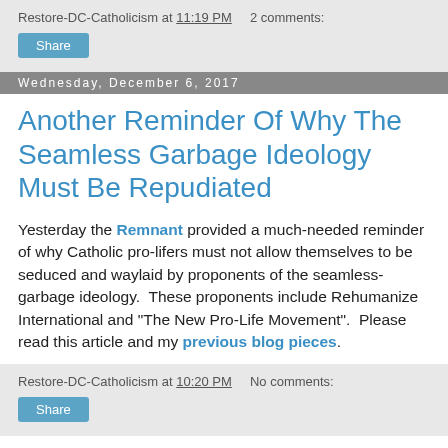Restore-DC-Catholicism at 11:19 PM   2 comments:
Share
Wednesday, December 6, 2017
Another Reminder Of Why The Seamless Garbage Ideology Must Be Repudiated
Yesterday the Remnant provided a much-needed reminder of why Catholic pro-lifers must not allow themselves to be seduced and waylaid by proponents of the seamless-garbage ideology.  These proponents include Rehumanize International and "The New Pro-Life Movement".  Please read this article and my previous blog pieces.
Restore-DC-Catholicism at 10:20 PM   No comments:
Share